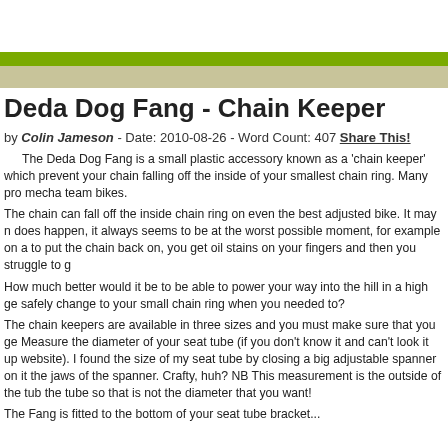Deda Dog Fang - Chain Keeper
by Colin Jameson - Date: 2010-08-26 - Word Count: 407 Share This!
The Deda Dog Fang is a small plastic accessory known as a 'chain keeper' which prevent your chain falling off the inside of your smallest chain ring. Many pro mecha team bikes.
The chain can fall off the inside chain ring on even the best adjusted bike. It may n does happen, it always seems to be at the worst possible moment, for example on a to put the chain back on, you get oil stains on your fingers and then you struggle to g
How much better would it be to be able to power your way into the hill in a high ge safely change to your small chain ring when you needed to?
The chain keepers are available in three sizes and you must make sure that you ge Measure the diameter of your seat tube (if you don't know it and can't look it up website). I found the size of my seat tube by closing a big adjustable spanner on it the jaws of the spanner. Crafty, huh? NB This measurement is the outside of the tub the tube so that is not the diameter that you want!
The Fang is fitted to the bottom of your seat tube bracket...